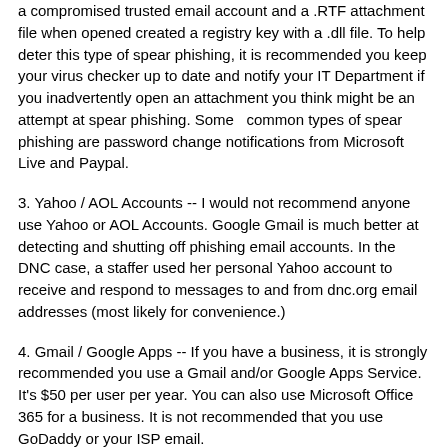a compromised trusted email account and a .RTF attachment file when opened created a registry key with a .dll file. To help deter this type of spear phishing, it is recommended you keep your virus checker up to date and notify your IT Department if you inadvertently open an attachment you think might be an attempt at spear phishing. Some   common types of spear phishing are password change notifications from Microsoft Live and Paypal.
3. Yahoo / AOL Accounts -- I would not recommend anyone use Yahoo or AOL Accounts. Google Gmail is much better at detecting and shutting off phishing email accounts. In the DNC case, a staffer used her personal Yahoo account to receive and respond to messages to and from dnc.org email addresses (most likely for convenience.)
4. Gmail / Google Apps -- If you have a business, it is strongly recommended you use a Gmail and/or Google Apps Service. It's $50 per user per year. You can also use Microsoft Office 365 for a business. It is not recommended that you use GoDaddy or your ISP email.